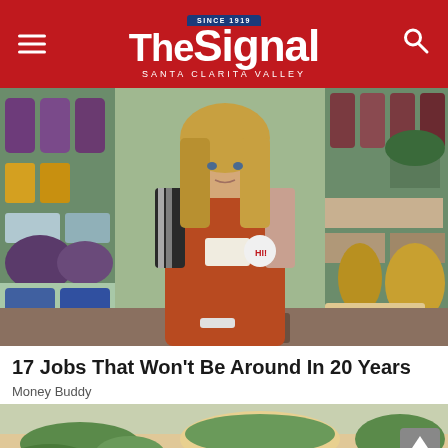The Signal — Santa Clarita Valley
[Figure (photo): Young blonde woman wearing a rust/orange apron with a name tag and a button, standing at a grocery store checkout counter, store shelves with products visible in the background.]
17 Jobs That Won't Be Around In 20 Years
Money Buddy
[Figure (photo): Partial view of a food/dining scene with green herbs and a bowl, bottom of page.]